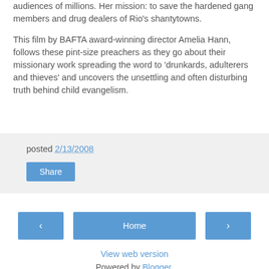audiences of millions. Her mission: to save the hardened gang members and drug dealers of Rio's shantytowns.

This film by BAFTA award-winning director Amelia Hann, follows these pint-size preachers as they go about their missionary work spreading the word to 'drunkards, adulterers and thieves' and uncovers the unsettling and often disturbing truth behind child evangelism.
posted 2/13/2008
Share
< Home >
View web version
Powered by Blogger.